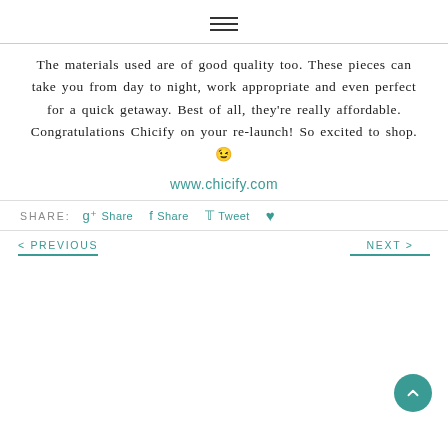☰ (hamburger menu icon)
The materials used are of good quality too. These pieces can take you from day to night, work appropriate and even perfect for a quick getaway. Best of all, they're really affordable. Congratulations Chicify on your re-launch! So excited to shop. 😉
www.chicify.com
SHARE:  Share  Share  Tweet  (Pinterest)
< PREVIOUS    NEXT >